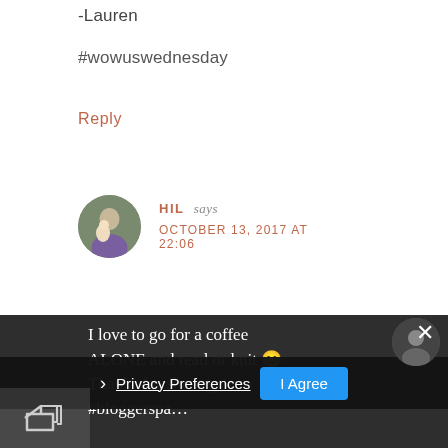-Lauren
#wowuswednesday
Reply
HIL says
OCTOBER 13, 2017 AT 22:06
I love to go for a coffee ALONE and read or knit 😊 Thanks for sharing #bloggerspa…
Privacy Preferences
I Agree